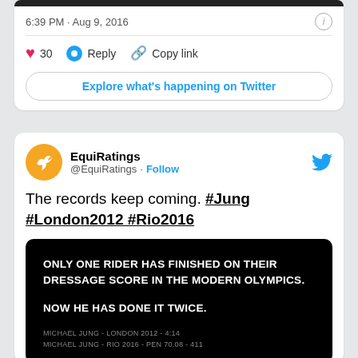6:39 PM · Aug 9, 2016
30   Reply   Copy link
Explore what's happening on Twitter
EquiRatings @EquiRatings · Follow
The records keep coming. #Jung #London2012 #Rio2016
[Figure (screenshot): Black background image with white bold text: 'ONLY ONE RIDER HAS FINISHED ON THEIR DRESSAGE SCORE IN THE MODERN OLYMPICS. NOW HE HAS DONE IT TWICE.' with smaller text at bottom referencing Michael Jung London 2012 and Rio 2016 scores.]